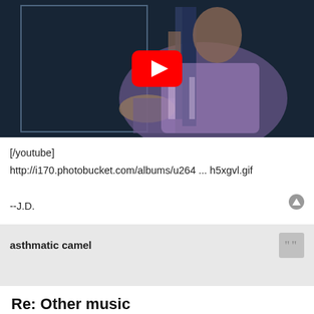[Figure (screenshot): Anime-style YouTube video thumbnail showing a blue-haired girl in a purple dress, with a red YouTube play button overlay]
[/youtube]
http://i170.photobucket.com/albums/u264 ... h5xgvl.gif

--J.D.
asthmatic camel
Re: Other music
Fri Aug 11, 2017 11:20 pm
[youtube]
[Figure (screenshot): Bottom of another video thumbnail, dark tones]